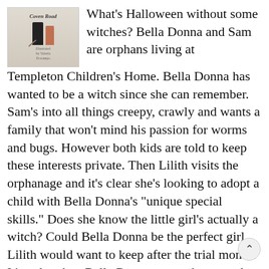[Figure (illustration): Book cover illustration for 'Coven Road' showing a witch figure in black and a girl with an orange bag standing together, with a broom, illustrated by someone, set against a light background.]
What's Halloween without some witches? Bella Donna and Sam are orphans living at Templeton Children's Home. Bella Donna has wanted to be a witch since she can remember. Sam's into all things creepy, crawly and wants a family that won't mind his passion for worms and bugs. However both kids are told to keep these interests private. Then Lilith visits the orphanage and it's clear she's looking to adopt a child with Bella Donna's "unique special skills." Does she know the little girl's actually a witch? Could Bella Donna be the perfect girl Lilith would want to keep after the trial month? It's only when Bella Donna comes home early from school that she discovers Coven Road, with its thirteen houses, has changed drastically, and it could only mean one thing. The road, like its residents, is magical, and just the right place for